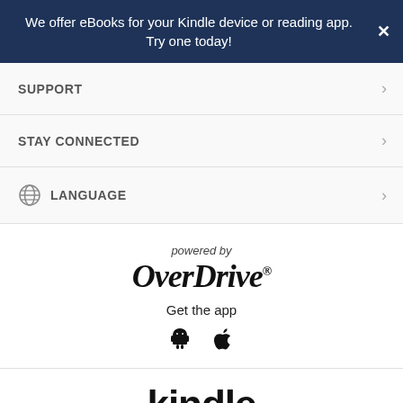We offer eBooks for your Kindle device or reading app. Try one today!
SUPPORT
STAY CONNECTED
Language
[Figure (logo): powered by OverDrive logo with Get the app text and Android and Apple icons]
[Figure (logo): Kindle logo with tagline: Read anywhere, on any device]